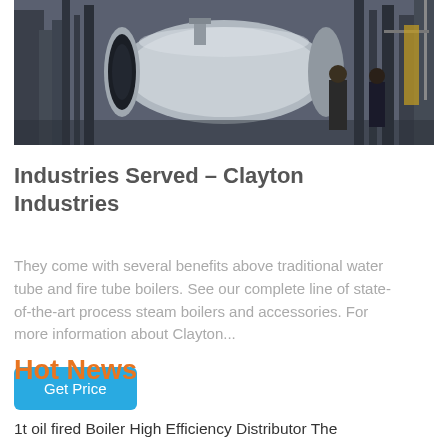[Figure (photo): Industrial boiler equipment in a factory or outdoor setting. A large cylindrical white/grey boiler tank is visible in the center, surrounded by industrial structures and machinery. Two workers are visible in the background.]
Industries Served – Clayton Industries
They come with several benefits above traditional water tube and fire tube boilers. See our complete line of state-of-the-art process steam boilers and accessories. For more information about Clayton...
Get Price
Hot News
1t oil fired Boiler High Efficiency Distributor The